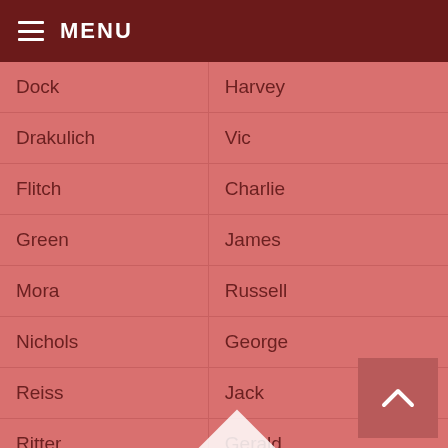MENU
| Last Name | First Name |
| --- | --- |
| Dock | Harvey |
| Drakulich | Vic |
| Flitch | Charlie |
| Green | James |
| Mora | Russell |
| Nichols | George |
| Reiss | Jack |
| Ritter | Gerald |
| Rogers | Lee |
| Sands | Anthony |